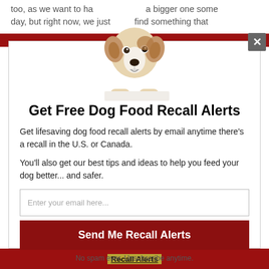too, as we want to have a bigger one some day, but right now, we just find something that
[Figure (photo): A cute Jack Russell terrier puppy peeking over a white surface, shown from chest up, on a white background]
Get Free Dog Food Recall Alerts
Get lifesaving dog food recall alerts by email anytime there's a recall in the U.S. or Canada.
You'll also get our best tips and ideas to help you feed your dog better... and safer.
Enter your email here...
Send Me Recall Alerts
No spam ever. Unsubscribe anytime.
Recall Alerts